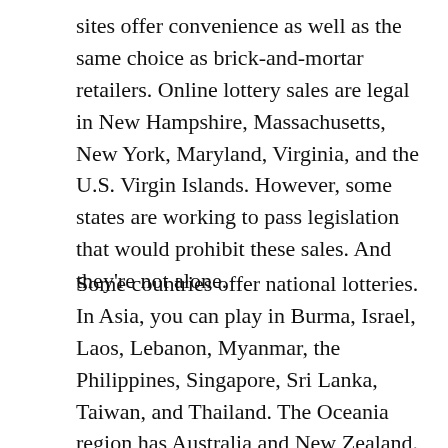sites offer convenience as well as the same choice as brick-and-mortar retailers. Online lottery sales are legal in New Hampshire, Massachusetts, New York, Maryland, Virginia, and the U.S. Virgin Islands. However, some states are working to pass legislation that would prohibit these sales. And they're not alone.
Some countries offer national lotteries. In Asia, you can play in Burma, Israel, Laos, Lebanon, Myanmar, the Philippines, Singapore, Sri Lanka, Taiwan, and Thailand. The Oceania region has Australia and New Zealand. You can play togel hongkong tickets online through government-run websites. The togel